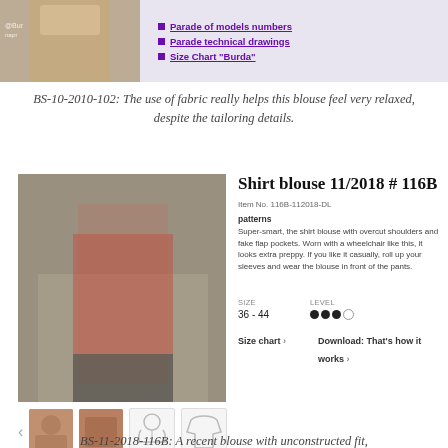[Figure (photo): Top banner with fashion photo on left (tan coat) and purple lavender background on right with navigation links]
Parade of models numbers
Parade technical drawings
Size Chart "Burda"
BS-10-2010-102: The use of fabric really helps this blouse feel very relaxed, despite the tailoring details.
[Figure (photo): Fashion photo of blonde woman wearing a checkered red and black shirt blouse with matching houndstooth trousers, standing next to a bicycle]
Shirt blouse 11/2018 # 116B
Item No. 116B-112018-DL
patterns
Super-smart, the shirt blouse with overcut shoulders and fake flap pockets. Worn with a wheelchair like this, it looks extra preppy. If you like it casually, roll up your sleeves and wear the blouse in front of the pants.
SIZE
36 - 44
LEVEL
●●● ○
Size chart ›
Download: That's how it works ›
[Figure (photo): Thumbnail row showing two photos of the brown shirt blouse and two technical drawing outlines of the garment]
BS-11-2018-116B: A recent blouse with unconstructed fit,